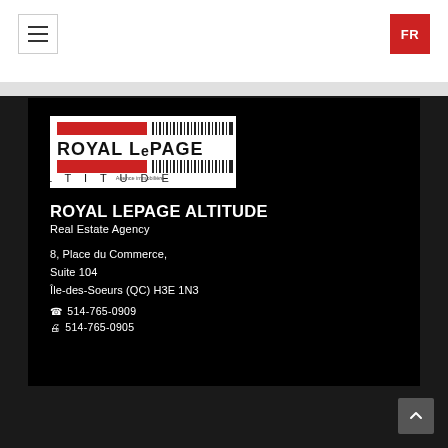[Figure (logo): Royal LePage Altitude real estate agency logo with barcode-style red and black design]
ROYAL LEPAGE ALTITUDE
Real Estate Agency
8, Place du Commerce, Suite 104
Île-des-Soeurs (QC) H3E 1N3
☎ 514-765-0909
🖨 514-765-0905